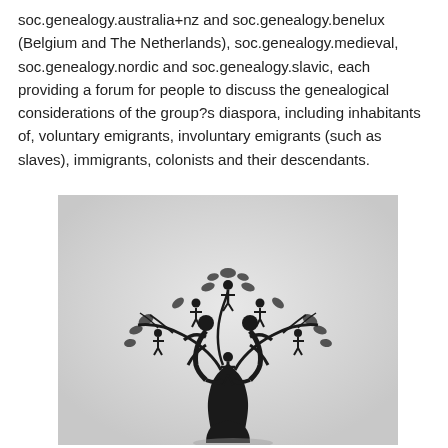soc.genealogy.australia+nz and soc.genealogy.benelux (Belgium and The Netherlands), soc.genealogy.medieval, soc.genealogy.nordic and soc.genealogy.slavic, each providing a forum for people to discuss the genealogical considerations of the group?s diaspora, including inhabitants of, voluntary emigrants, involuntary emigrants (such as slaves), immigrants, colonists and their descendants.
[Figure (illustration): Black and white photograph of a stylized family tree sculpture made of human silhouette figures holding hands and forming the shape of a tree canopy, with a trunk below, on a light grey background.]